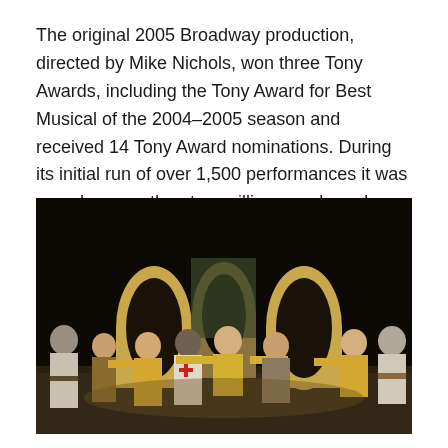The original 2005 Broadway production, directed by Mike Nichols, won three Tony Awards, including the Tony Award for Best Musical of the 2004–2005 season and received 14 Tony Award nominations. During its initial run of over 1,500 performances it was seen by more than two million people and grossed over $175 million.
[Figure (photo): Stage performance photo showing performers in period costumes on a theatrical stage with large arch-shaped set pieces and dark background. Performers in gold and white costumes dance and pose across the stage.]